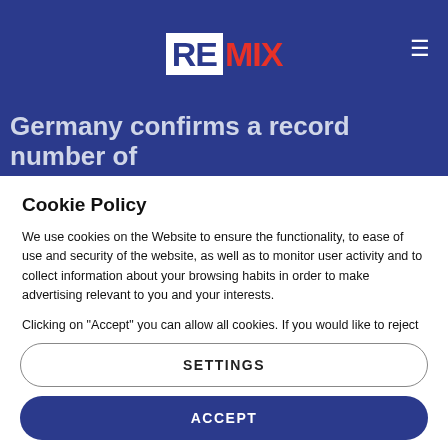REMIX
Germany confirms a record number of
Cookie Policy
We use cookies on the Website to ensure the functionality, to ease of use and security of the website, as well as to monitor user activity and to collect information about your browsing habits in order to make advertising relevant to you and your interests.
Clicking on "Accept" you can allow all cookies. If you would like to reject or customize, please click on "Settings".
Read more: Cookie Policy
SETTINGS
ACCEPT